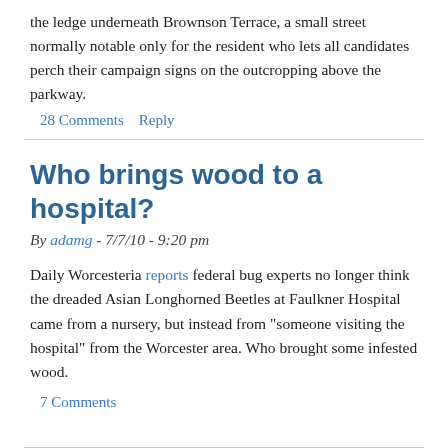the ledge underneath Brownson Terrace, a small street normally notable only for the resident who lets all candidates perch their campaign signs on the outcropping above the parkway.
28 Comments   Reply
Who brings wood to a hospital?
By adamg - 7/7/10 - 9:20 pm
Daily Worcesteria reports federal bug experts no longer think the dreaded Asian Longhorned Beetles at Faulkner Hospital came from a nursery, but instead from "someone visiting the hospital" from the Worcester area. Who brought some infested wood.
7 Comments